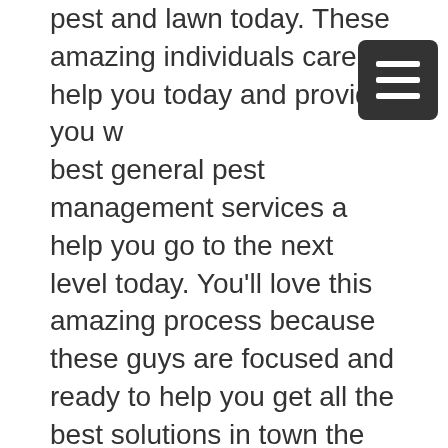pest and lawn today. These amazing individuals care to help you today and provide you with best general pest management services and help you go to the next level today. You'll love this amazing process because these guys are focused and ready to help you get all the best solutions in town the matter what the case is today. Definitely use the professionals here at platinum pest & lawn company today. You'll fall love with their high quality of dexterity and diligence to provide you with the best services in town today. Don't waste any more time just contact these guys now if you're excited to help your self today. Use these guys for the best Tulsa pest control experts that they are.

Definitely reach out to the professionals here
[Figure (other): Hamburger menu icon — three horizontal white bars on a dark/black rounded rectangle background]